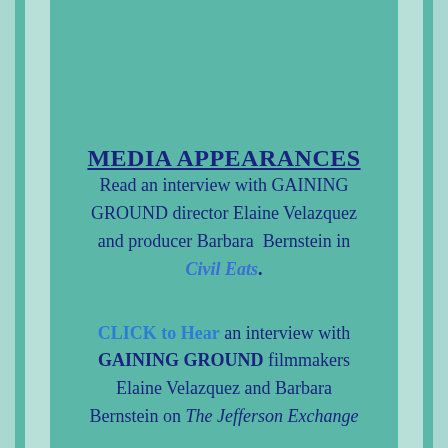MEDIA APPEARANCES
Read an interview with GAINING GROUND director Elaine Velazquez and producer Barbara  Bernstein in Civil Eats.
CLICK to Hear an interview with GAINING GROUND filmmakers Elaine Velazquez and Barbara Bernstein on The Jefferson Exchange